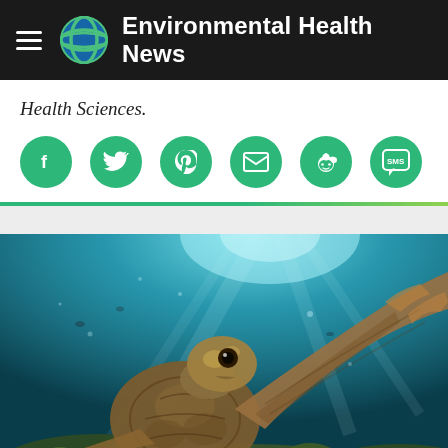Environmental Health News
Health Sciences.
[Figure (other): Social sharing buttons: Facebook, Twitter, Pinterest, Email, Reddit, SMS — green circular icons]
[Figure (photo): Underwater photo of a sea turtle swimming above coral reef, looking upward toward the surface with clear teal-blue water and sunlight above]